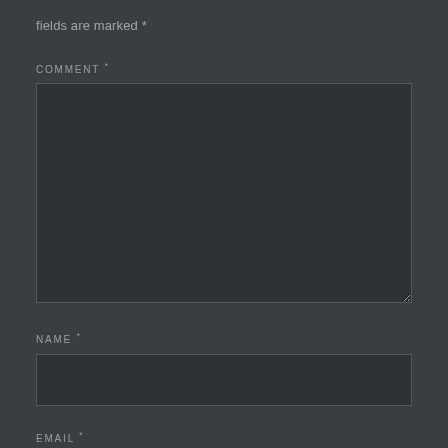fields are marked *
COMMENT *
[Figure (screenshot): Large empty comment textarea input field with dark background and border]
NAME *
[Figure (screenshot): Single-line name input field with dark background and border]
EMAIL *
[Figure (screenshot): Partial single-line email input field with dark background and border, cut off at bottom]